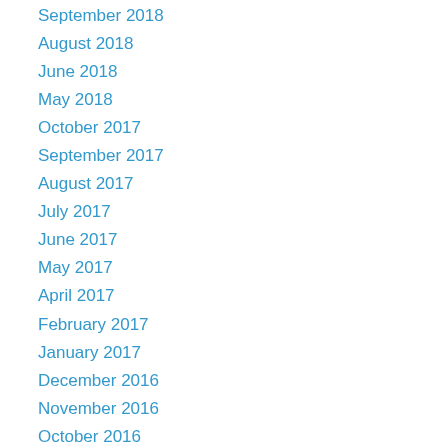September 2018
August 2018
June 2018
May 2018
October 2017
September 2017
August 2017
July 2017
June 2017
May 2017
April 2017
February 2017
January 2017
December 2016
November 2016
October 2016
September 2016
August 2016
March 2016
February 2016